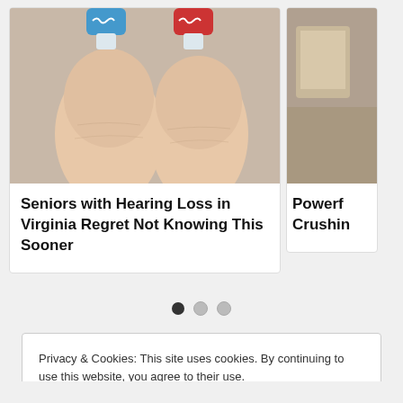[Figure (photo): Two fingertips each holding a small hearing aid device. One hearing aid has a blue label and the other a red label. Close-up photo on a gray/beige background.]
Seniors with Hearing Loss in Virginia Regret Not Knowing This Sooner
[Figure (photo): Partial view of a second card image, cropped — appears to show some indoor scene.]
Powerf Crushin
Privacy & Cookies: This site uses cookies. By continuing to use this website, you agree to their use.
To find out more, including how to control cookies, see here: Cookie Policy
Close and accept